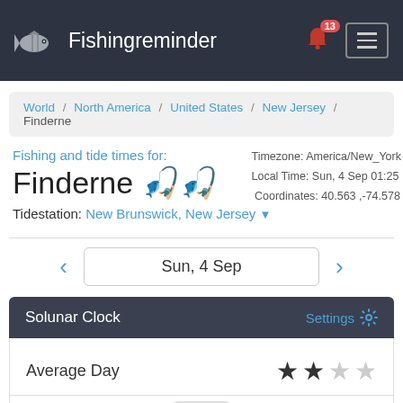Fishingreminder
World / North America / United States / New Jersey / Finderne
Fishing and tide times for:
Finderne
Tidestation: New Brunswick, New Jersey
Timezone: America/New_York
Local Time: Sun, 4 Sep 01:25
Coordinates: 40.563 ,-74.578
Sun, 4 Sep
Solunar Clock
Settings
Average Day